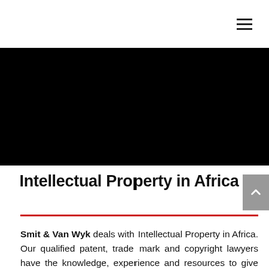☰ (hamburger menu icon)
[Figure (photo): A large black/dark hero image banner spanning the full width of the page]
Intellectual Property in Africa
Smit & Van Wyk deals with Intellectual Property in Africa. Our qualified patent, trade mark and copyright lawyers have the knowledge, experience and resources to give expert